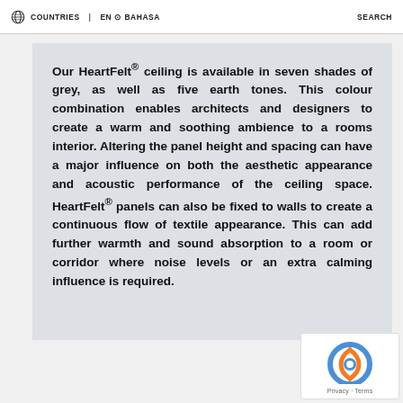🌐 COUNTRIES   EN ⊙ BAHASA   SEARCH
Our HeartFelt® ceiling is available in seven shades of grey, as well as five earth tones. This colour combination enables architects and designers to create a warm and soothing ambience to a rooms interior. Altering the panel height and spacing can have a major influence on both the aesthetic appearance and acoustic performance of the ceiling space. HeartFelt® panels can also be fixed to walls to create a continuous flow of textile appearance. This can add further warmth and sound absorption to a room or corridor where noise levels or an extra calming influence is required.
[Figure (logo): Google reCAPTCHA badge with Privacy and Terms links]